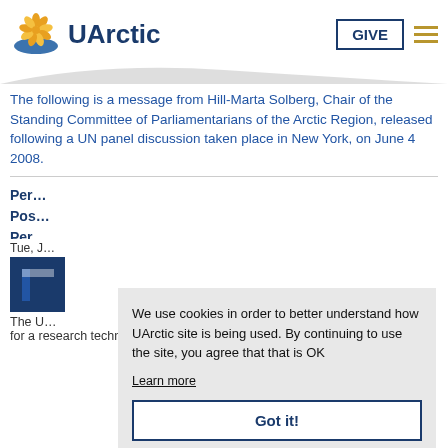[Figure (logo): UArctic logo with stylized flower/sun in yellow-orange and blue oval, with text 'UArctic' in dark blue]
The following is a message from Hill-Marta Solberg, Chair of the Standing Committee of Parliamentarians of the Arctic Region, released following a UN panel discussion taken place in New York, on June 4 2008.
Per… Pos… Per…
Tue, J…
The U…
for a research technician 2 position at the Institute of
We use cookies in order to better understand how UArctic site is being used. By continuing to use the site, you agree that that is OK
Learn more
Got it!